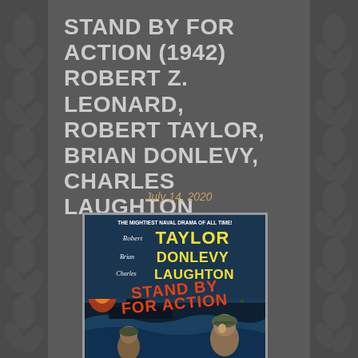STAND BY FOR ACTION (1942) ROBERT Z. LEONARD, ROBERT TAYLOR, BRIAN DONLEVY, CHARLES LAUGHTON
July 14, 2020
[Figure (photo): Movie poster for 'Stand By For Action' (1942) featuring text 'THE MIGHTIEST NAVAL DRAMA OF ALL TIME!' with names Robert Taylor, Brian Donlevy, Charles Laughton and the film title 'STAND BY FOR ACTION' in large orange letters, with naval battle imagery and soldier figures.]